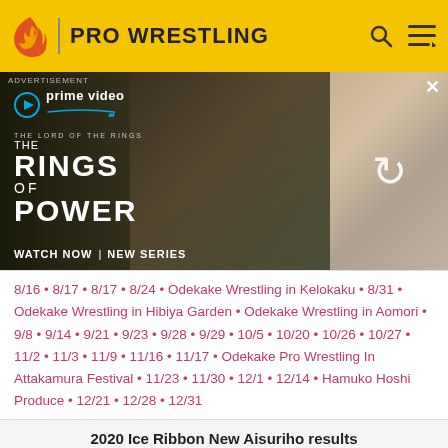PRO WRESTLING
[Figure (advertisement): Amazon Prime Video advertisement for 'The Lord of the Rings: The Rings of Power' - Watch Now | New Series. Shows two characters on the left panel and a group of characters with a refresh icon on the right panel.]
8/16 • 8/17 • 8/17 • 8/24 • Odekake Wrestling in Kelokaku • 8/31 • Odekake Wrestling in Hibiya Garden • Odekake Wrestling in Aomori • 9/8 • 9/14 • 9/21 • 9/23 • 9/28 • 9/29 • 10/5 • 10/20 • 10/26 • 10/27 • 11/2 • 11/3 • 11/9 • 11/16 • 11/17 • Odekake Pro Wrestling In Attakamura Festival • 11/23 • 11/30 • 12/1 • 12/14 • Hamuko Hoshi Produce • 12/21 • 12/28 • 12/31
2020 Ice Ribbon New Aisuriho results
1/3 • 1/4 • 1/11 • 1/13 • 1/18 • 1/25 • 1/26 • 2/1 • 2/8 • 2/15 • 2/22 • 2/24 • 2/29 • 3/7 • 3/14 • 3/20 • 3/21 • 3/29 • 4/4 • 4/11 • 4/18 • 4/25 • 5/2 • 5/4 • 5/9 • 5/16 • 5/23 • 5/30 • 5/31 •6/6 •